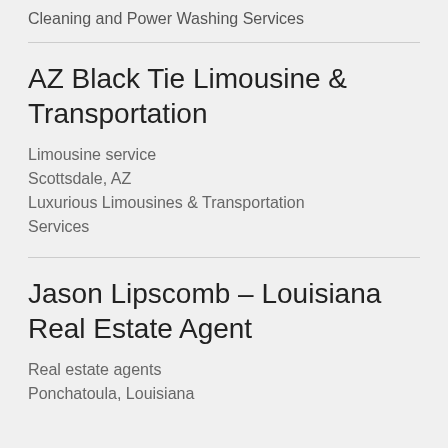Cleaning and Power Washing Services
AZ Black Tie Limousine & Transportation
Limousine service
Scottsdale, AZ
Luxurious Limousines & Transportation Services
Jason Lipscomb – Louisiana Real Estate Agent
Real estate agents
Ponchatoula, Louisiana